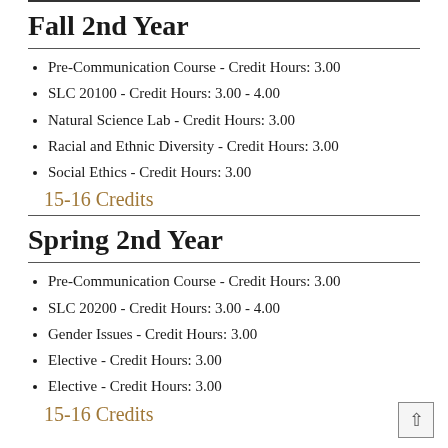Fall 2nd Year
Pre-Communication Course - Credit Hours: 3.00
SLC 20100 - Credit Hours: 3.00 - 4.00
Natural Science Lab - Credit Hours: 3.00
Racial and Ethnic Diversity - Credit Hours: 3.00
Social Ethics - Credit Hours: 3.00
15-16 Credits
Spring 2nd Year
Pre-Communication Course - Credit Hours: 3.00
SLC 20200 - Credit Hours: 3.00 - 4.00
Gender Issues - Credit Hours: 3.00
Elective - Credit Hours: 3.00
Elective - Credit Hours: 3.00
15-16 Credits